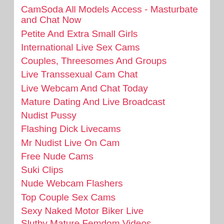CamSoda All Models Access - Masturbate and Chat Now
Petite And Extra Small Girls
International Live Sex Cams
Couples, Threesomes And Groups
Live Transsexual Cam Chat
Live Webcam And Chat Today
Mature Dating And Live Broadcast
Nudist Pussy
Flashing Dick Livecams
Mr Nudist Live On Cam
Free Nude Cams
Suki Clips
Nude Webcam Flashers
Top Couple Sex Cams
Sexy Naked Motor Biker Live
Slutty Mature Femdom Videos